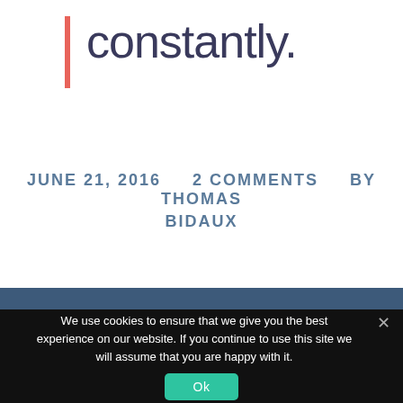constantly.
JUNE 21, 2016    2 COMMENTS    BY THOMAS BIDAUX
We use cookies to ensure that we give you the best experience on our website. If you continue to use this site we will assume that you are happy with it.